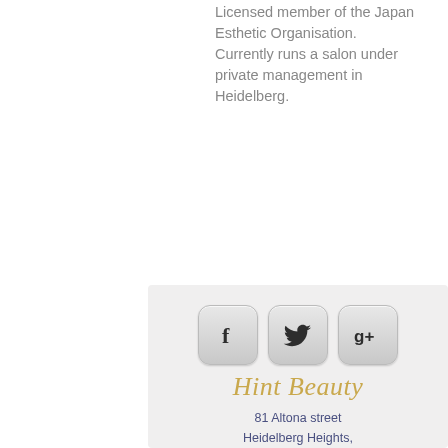Licensed member of the Japan Esthetic Organisation.
Currently runs a salon under private management in Heidelberg.
[Figure (logo): Social media icons for Facebook, Twitter, and Google+ displayed as rounded square buttons with gradient background]
Hint Beauty
81 Altona street
Heidelberg Heights,
VIC 3081 Australia
vukiekusano@hotmail.com